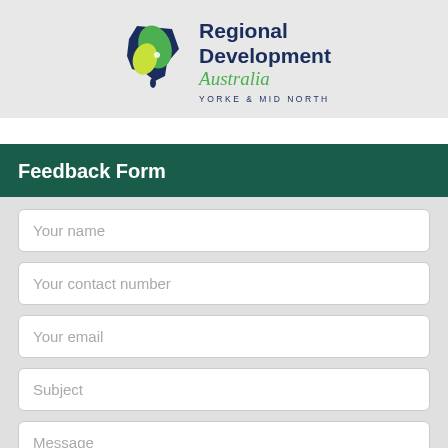[Figure (logo): Regional Development Australia Yorke & Mid North logo with stylized map of Australia icon in navy, green, and lime colors.]
Feedback Form
Your name
Your contact number
Your email
Subject
Message